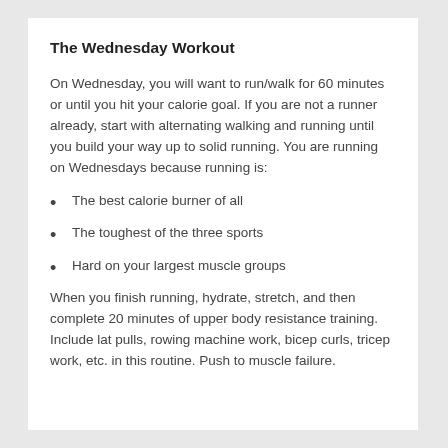The Wednesday Workout
On Wednesday, you will want to run/walk for 60 minutes or until you hit your calorie goal. If you are not a runner already, start with alternating walking and running until you build your way up to solid running. You are running on Wednesdays because running is:
The best calorie burner of all
The toughest of the three sports
Hard on your largest muscle groups
When you finish running, hydrate, stretch, and then complete 20 minutes of upper body resistance training. Include lat pulls, rowing machine work, bicep curls, tricep work, etc. in this routine. Push to muscle failure.